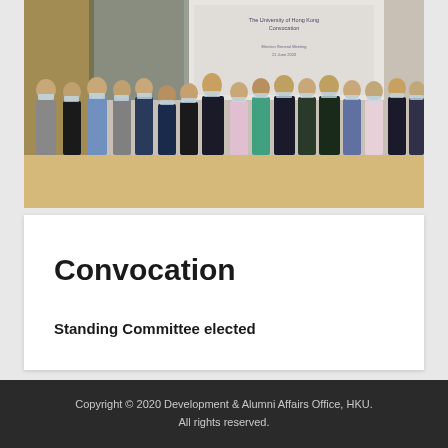[Figure (photo): Group photo of approximately 20 people wearing face masks standing in a room with a presentation screen in the background showing The University of Hong Kong Convocation text. The attendees are dressed in business and business-casual attire.]
Convocation
Standing Committee elected
Copyright © 2020 Development & Alumni Affairs Office, HKU.
All rights reserved.